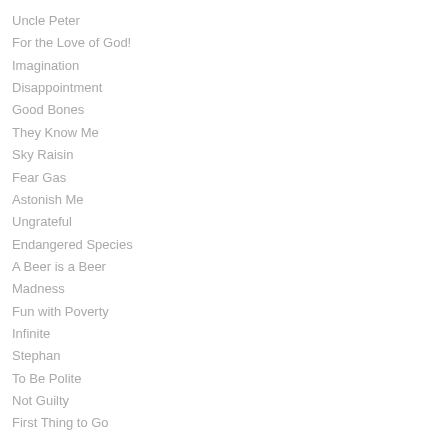Uncle Peter
For the Love of God!
Imagination
Disappointment
Good Bones
They Know Me
Sky Raisin
Fear Gas
Astonish Me
Ungrateful
Endangered Species
A Beer is a Beer
Madness
Fun with Poverty
Infinite
Stephan
To Be Polite
Not Guilty
First Thing to Go